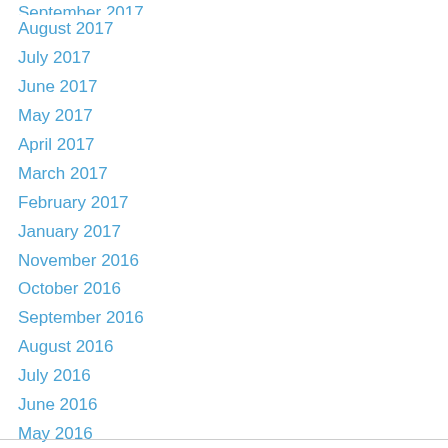September 2017
August 2017
July 2017
June 2017
May 2017
April 2017
March 2017
February 2017
January 2017
November 2016
October 2016
September 2016
August 2016
July 2016
June 2016
May 2016
April 2016
March 2016
January 2016